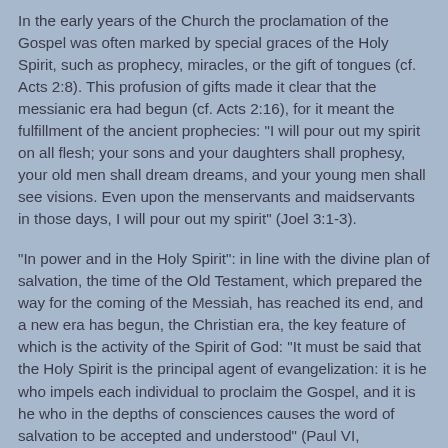In the early years of the Church the proclamation of the Gospel was often marked by special graces of the Holy Spirit, such as prophecy, miracles, or the gift of tongues (cf. Acts 2:8). This profusion of gifts made it clear that the messianic era had begun (cf. Acts 2:16), for it meant the fulfillment of the ancient prophecies: "I will pour out my spirit on all flesh; your sons and your daughters shall prophesy, your old men shall dream dreams, and your young men shall see visions. Even upon the menservants and maidservants in those days, I will pour out my spirit" (Joel 3:1-3).
"In power and in the Holy Spirit": in line with the divine plan of salvation, the time of the Old Testament, which prepared the way for the coming of the Messiah, has reached its end, and a new era has begun, the Christian era, the key feature of which is the activity of the Spirit of God: "It must be said that the Holy Spirit is the principal agent of evangelization: it is he who impels each individual to proclaim the Gospel, and it is he who in the depths of consciences causes the word of salvation to be accepted and understood" (Paul VI, "Evangelii Nuntiandi", 75).